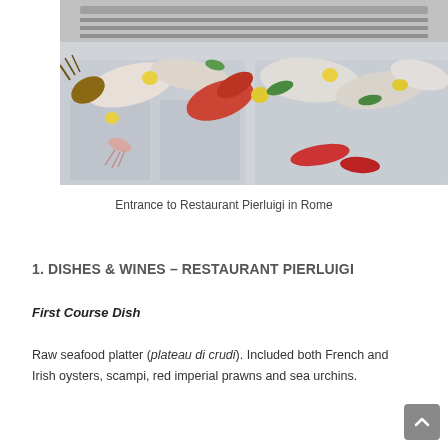[Figure (photo): Photo of a seafood display counter at Restaurant Pierluigi in Rome, showing various fresh fish, prawns, lobsters, and other seafood on ice with lemons and garnishes, set against a stainless steel kitchen backdrop.]
Entrance to Restaurant Pierluigi in Rome
1. DISHES & WINES – RESTAURANT PIERLUIGI
First Course Dish
Raw seafood platter (plateau di crudi). Included both French and Irish oysters, scampi, red imperial prawns and sea urchins.